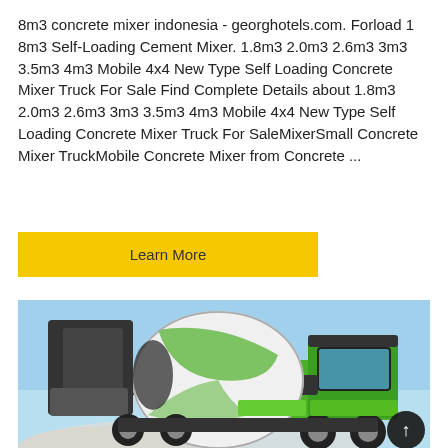8m3 concrete mixer indonesia - georghotels.com. Forload 1 8m3 Self-Loading Cement Mixer. 1.8m3 2.0m3 2.6m3 3m3 3.5m3 4m3 Mobile 4x4 New Type Self Loading Concrete Mixer Truck For Sale Find Complete Details about 1.8m3 2.0m3 2.6m3 3m3 3.5m3 4m3 Mobile 4x4 New Type Self Loading Concrete Mixer Truck For SaleMixerSmall Concrete Mixer TruckMobile Concrete Mixer from Concrete ...
[Figure (other): Yellow 'Learn More' button]
[Figure (photo): A green and white self-loading concrete mixer truck with a rotating drum, photographed against a light blue sky background, with white aggregates/gravel in the foreground. A dark circular scroll-to-top button is overlaid in the bottom right corner.]